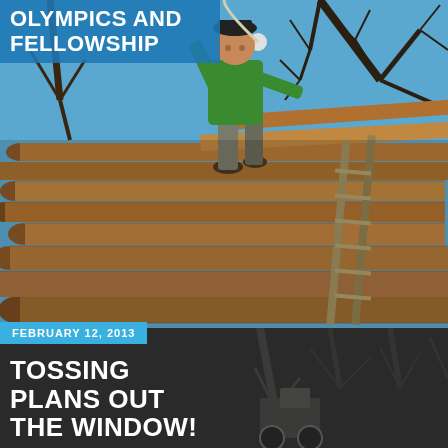OLYMPICS AND FELLOWSHIP
[Figure (photo): Man in green shirt standing on top of a large pile of logs, with a ladder leaning against the logs and bare trees in the background against a blue sky]
FEBRUARY 12, 2013
TOSSING PLANS OUT THE WINDOW!
[Figure (photo): Dark bottom portion of the page showing a partially visible outdoor scene with trees and structures in dark/black and white tones]